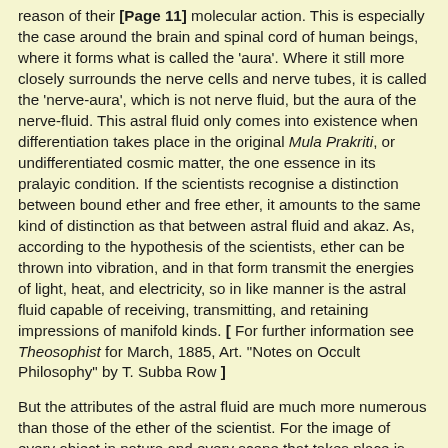reason of their [Page 11] molecular action. This is especially the case around the brain and spinal cord of human beings, where it forms what is called the 'aura'. Where it still more closely surrounds the nerve cells and nerve tubes, it is called the 'nerve-aura', which is not nerve fluid, but the aura of the nerve-fluid. This astral fluid only comes into existence when differentiation takes place in the original Mula Prakriti, or undifferentiated cosmic matter, the one essence in its pralayic condition. If the scientists recognise a distinction between bound ether and free ether, it amounts to the same kind of distinction as that between astral fluid and akaz. As, according to the hypothesis of the scientists, ether can be thrown into vibration, and in that form transmit the energies of light, heat, and electricity, so in like manner is the astral fluid capable of receiving, transmitting, and retaining impressions of manifold kinds. [ For further information see Theosophist for March, 1885, Art. "Notes on Occult Philosophy" by T. Subba Row ]
But the attributes of the astral fluid are much more numerous than those of the ether of the scientist. For the image of every object in nature and every scene that takes place is impressed upon it, and, once impressed, remains for all time, and can be summoned up by the psychic sense of one who has the gift of reading this universal medium. This fact is